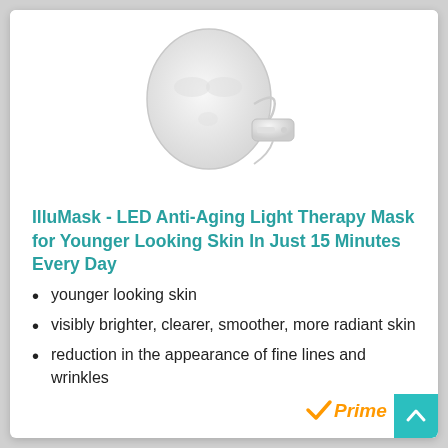[Figure (photo): White LED face mask device with attached controller/remote, shown at an angle against white background]
IlluMask - LED Anti-Aging Light Therapy Mask for Younger Looking Skin In Just 15 Minutes Every Day
younger looking skin
visibly brighter, clearer, smoother, more radiant skin
reduction in the appearance of fine lines and wrinkles
[Figure (logo): Amazon Prime logo with orange checkmark and 'Prime' text in orange italic]